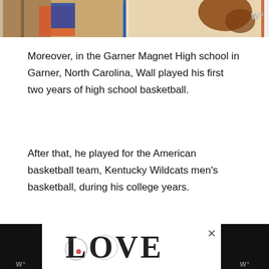[Figure (photo): Top banner with two images partially visible - left side shows a colorful illustration with red and blue elements, right side shows a brown hand/arm against light background. Watermark 'W°' visible on the right.]
Moreover, in the Garner Magnet High school in Garner, North Carolina, Wall played his first two years of high school basketball.
After that, he played for the American basketball team, Kentucky Wildcats men's basketball, during his college years.
NBA Pilgrimage
After successful basketball recognition from high school and University, Wall debuted in NBA in 2010 af... first
[Figure (illustration): Bottom advertisement banner with LOVE text in decorative style, close button X visible, and black bars on left and right with W° watermark]